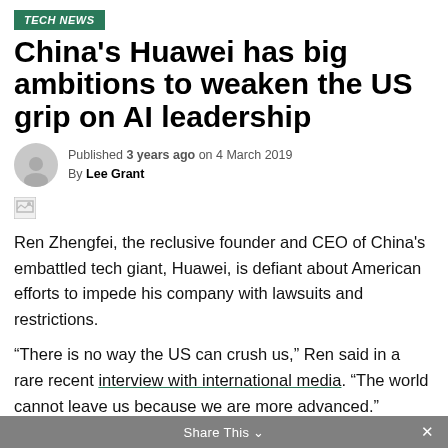TECH NEWS
China's Huawei has big ambitions to weaken the US grip on AI leadership
Published 3 years ago on 4 March 2019
By Lee Grant
[Figure (photo): Broken image placeholder icon]
Ren Zhengfei, the reclusive founder and CEO of China's embattled tech giant, Huawei, is defiant about American efforts to impede his company with lawsuits and restrictions.
“There is no way the US can crush us,” Ren said in a rare recent interview with international media. “The world cannot leave us because we are more advanced.”
Share This ∨   ×